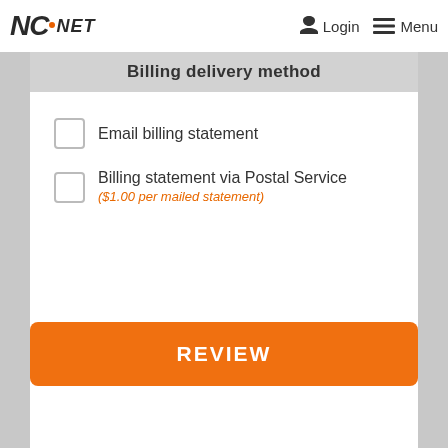NCnet | Login | Menu
Billing delivery method
Email billing statement
Billing statement via Postal Service ($1.00 per mailed statement)
REVIEW